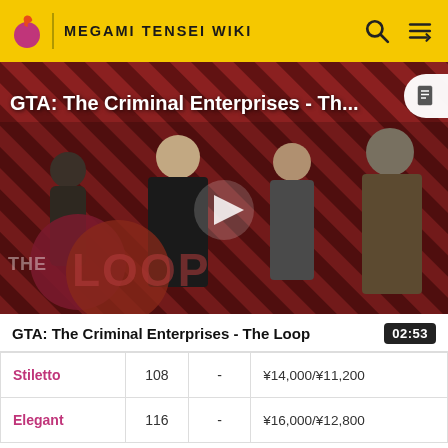MEGAMI TENSEI WIKI
[Figure (screenshot): Video thumbnail for 'GTA: The Criminal Enterprises - The Loop' showing game characters on a red diagonal striped background with a play button overlay and The Loop logo]
GTA: The Criminal Enterprises - The Loop
| Stiletto | 108 | - | ¥14,000/¥11,200 |
| Elegant | 116 | - | ¥16,000/¥12,800 |